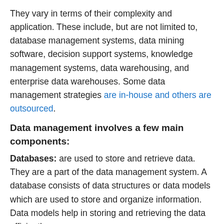They vary in terms of their complexity and application. These include, but are not limited to, database management systems, data mining software, decision support systems, knowledge management systems, data warehousing, and enterprise data warehouses. Some data management strategies are in-house and others are outsourced.
Data management involves a few main components:
Databases: are used to store and retrieve data. They are a part of the data management system. A database consists of data structures or data models which are used to store and organize information. Data models help in storing and retrieving the data efficiently.
[Figure (other): Loading... placeholder bar]
Data mining: is the process of discovering patterns in the data by applying different techniques such as data classification, clustering, regression, association, time series prediction, etc. The tech...